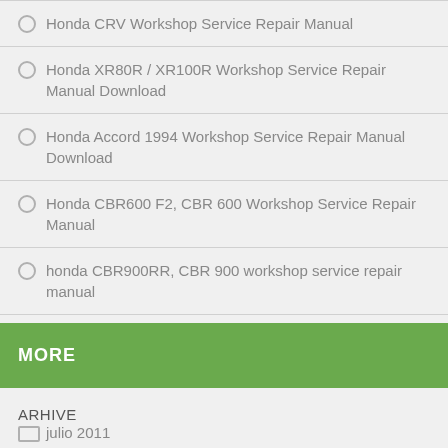Honda CRV Workshop Service Repair Manual
Honda XR80R / XR100R Workshop Service Repair Manual Download
Honda Accord 1994 Workshop Service Repair Manual Download
Honda CBR600 F2, CBR 600 Workshop Service Repair Manual
honda CBR900RR, CBR 900 workshop service repair manual
MORE
ARHIVE
julio 2011